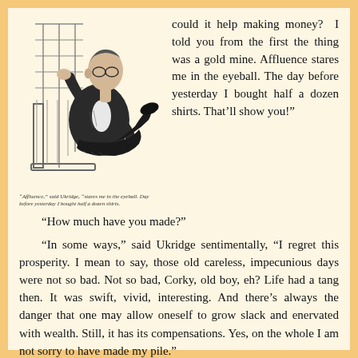[Figure (illustration): Black and white illustration of a man reclining in a chair, wearing glasses, gesturing with one hand, legs crossed, depicted in a casual lounging posture.]
“Affluence,” said Ukridge, “stares me in the eyeball. Day before yesterday I bought half a dozen shirts.
could it help making money? I told you from the first the thing was a gold mine. Affluence stares me in the eyeball. The day before yesterday I bought half a dozen shirts. That’ll show you!
“How much have you made?”
“In some ways,” said Ukridge sentimentally, “I regret this prosperity. I mean to say, those old careless, impecunious days were not so bad. Not so bad, Corky, old boy, eh? Life had a tang then. It was swift, vivid, interesting. And there’s always the danger that one may allow oneself to grow slack and enervated with wealth. Still, it has its compensations. Yes, on the whole I am not sorry to have made my pile.”